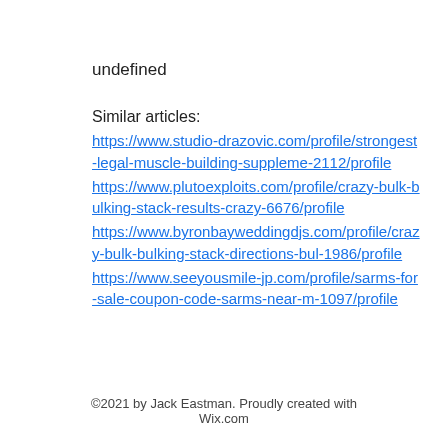undefined
Similar articles:
https://www.studio-drazovic.com/profile/strongest-legal-muscle-building-suppleme-2112/profile
https://www.plutoexploits.com/profile/crazy-bulk-bulking-stack-results-crazy-6676/profile
https://www.byronbayweddingdjs.com/profile/crazy-bulk-bulking-stack-directions-bul-1986/profile
https://www.seeyousmile-jp.com/profile/sarms-for-sale-coupon-code-sarms-near-m-1097/profile
©2021 by Jack Eastman. Proudly created with Wix.com